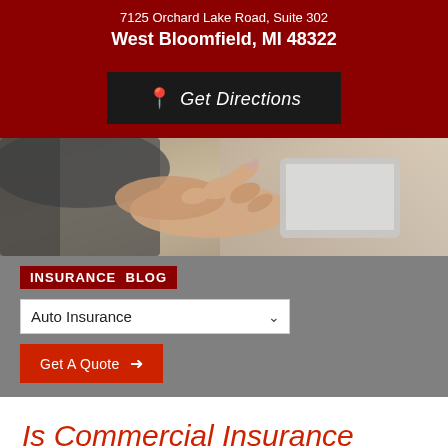7125 Orchard Lake Road, Suite 302
West Bloomfield, MI 48322
Get Directions
[Figure (photo): Close-up photo of a person's hand pointing at a tablet or smartphone screen, blurred background]
INSURANCE BLOG
Auto Insurance (dropdown selector)
Get A Quote →
Is Commercial Insurance Required in MI?